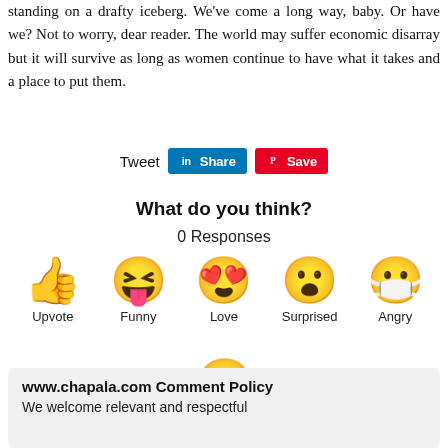standing on a drafty iceberg. We've come a long way, baby. Or have we? Not to worry, dear reader. The world may suffer economic disarray but it will survive as long as women continue to have what it takes and a place to put them.
[Figure (infographic): Social share buttons: Tweet, LinkedIn Share, Pinterest Save]
What do you think?
0 Responses
[Figure (infographic): Row of reaction emojis: Upvote (thumbs up), Funny (laughing face), Love (heart eyes), Surprised (surprised face), Angry (sick/angry face) with labels below each]
[Figure (infographic): Sad emoji (crying face with tear drop) with label Sad below]
www.chapala.com Comment Policy
We welcome relevant and respectful